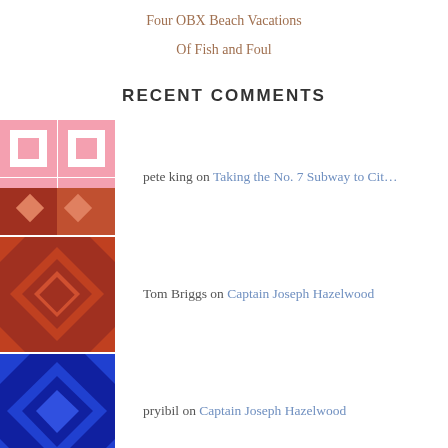Four OBX Beach Vacations
Of Fish and Foul
RECENT COMMENTS
pete king on Taking the No. 7 Subway to Cit…
Tom Briggs on Captain Joseph Hazelwood
pryibil on Captain Joseph Hazelwood
walshjk on Captain Joseph Hazelwood
Peter Birch on Captain Joseph Hazelwood
ARCHIVES
August 2022